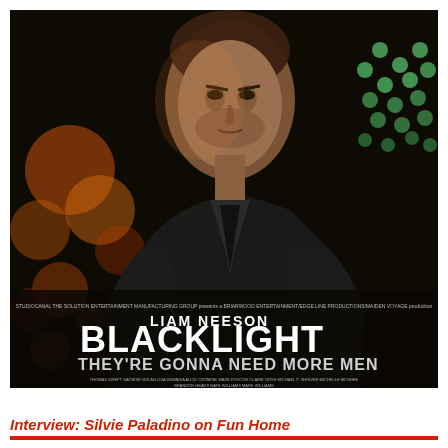[Figure (photo): Movie poster for Blacklight starring Liam Neeson. Shows a serious-looking middle-aged man in a dark jacket against a dark bokeh background with orange and green lights. Text on poster reads: LIAM NEESON, BLACKLIGHT, THEY'RE GONNA NEED MORE MEN, followed by small production credits.]
Interview: Silvie Paladino on Fun Home